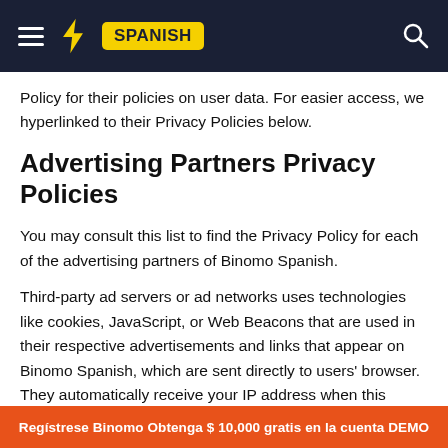SPANISH (Binomo Spanish site header with hamburger menu, bolt logo, SPANISH badge, and search icon)
Policy for their policies on user data. For easier access, we hyperlinked to their Privacy Policies below.
Advertising Partners Privacy Policies
You may consult this list to find the Privacy Policy for each of the advertising partners of Binomo Spanish.
Third-party ad servers or ad networks uses technologies like cookies, JavaScript, or Web Beacons that are used in their respective advertisements and links that appear on Binomo Spanish, which are sent directly to users' browser. They automatically receive your IP address when this occurs. These technologies are used to measure the effectiveness of their advertising campaigns and/or to personalize the
Regístrese Binomo Obtenga $ 10,000 gratis en la cuenta DEMO